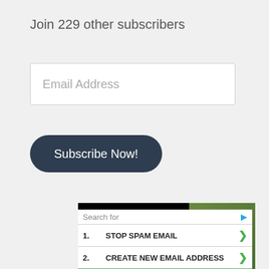Join 229 other subscribers
Email Address
Subscribe Now!
[Figure (photo): Advertisement banner: black background with text 'We believe the global pollution crisis' and a person in a white hard hat and yellow jacket on the right side.]
Search for
1.  STOP SPAM EMAIL
2.  CREATE NEW EMAIL ADDRESS
Yahoo! Search | Sponsored